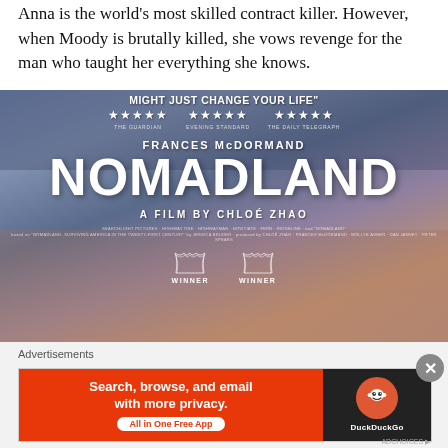Anna is the world's most skilled contract killer. However, when Moody is brutally killed, she vows revenge for the man who taught her everything she knows.
[Figure (photo): Movie poster for Nomadland. White bold text on a bluish-purple sky background. Shows quote 'MIGHT JUST CHANGE YOUR LIFE"', three groups of five stars each attributed to The Guardian, Evening Standard, and The Daily Telegraph. Large text reads FRANCES McDORMAND, then NOMADLAND in giant letters, then A FILM BY CHLOÉ ZHAO, followed by small credits and two WINNER laurel badges at the bottom.]
Advertisements
[Figure (screenshot): DuckDuckGo advertisement banner. Left side: orange/red background with white bold text 'Search, browse, and email with more privacy.' and a white pill button 'All in One Free App'. Right side: dark background with DuckDuckGo logo (orange circle with duck icon) and text DuckDuckGo.]